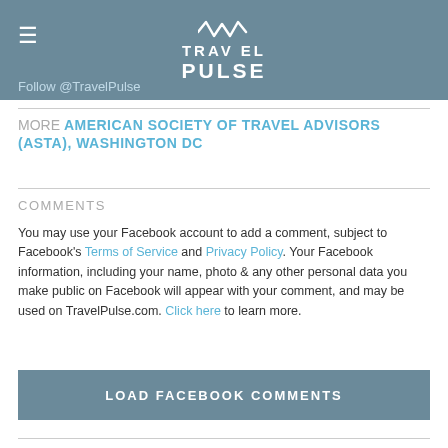[Figure (logo): TravelPulse logo with mountain/wave graphic, white text on steel blue background]
Follow @TravelPulse
MORE AMERICAN SOCIETY OF TRAVEL ADVISORS (ASTA), WASHINGTON DC
COMMENTS
You may use your Facebook account to add a comment, subject to Facebook's Terms of Service and Privacy Policy. Your Facebook information, including your name, photo & any other personal data you make public on Facebook will appear with your comment, and may be used on TravelPulse.com. Click here to learn more.
LOAD FACEBOOK COMMENTS
James Shillinglaw
Travel industry veteran James Shillinglaw is a two-time ASTA Journalist of the Year and former editor-in-chief of Agent@Home and Vacation Agent magazines.
[Figure (photo): Headshot photo of James Shillinglaw, a man in a suit]